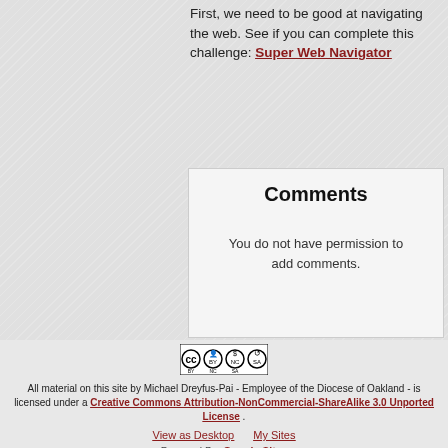First, we need to be good at navigating the web. See if you can complete this challenge: Super Web Navigator
Comments
You do not have permission to add comments.
[Figure (logo): Creative Commons CC BY NC SA badge/logo]
All material on this site by Michael Dreyfus-Pai - Employee of the Diocese of Oakland - is licensed under a Creative Commons Attribution-NonCommercial-ShareAlike 3.0 Unported License. View as Desktop | My Sites | Powered By Google Sites